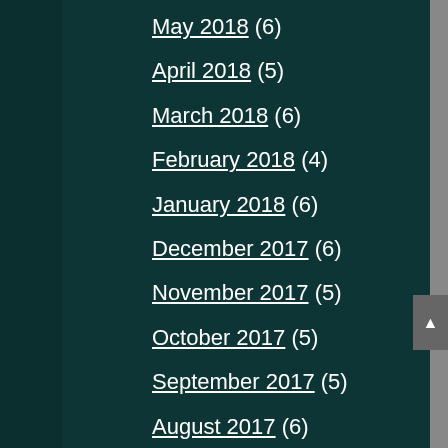May 2018 (6)
April 2018 (5)
March 2018 (6)
February 2018 (4)
January 2018 (6)
December 2017 (6)
November 2017 (5)
October 2017 (5)
September 2017 (5)
August 2017 (6)
July 2017 (6)
June 2017 (5)